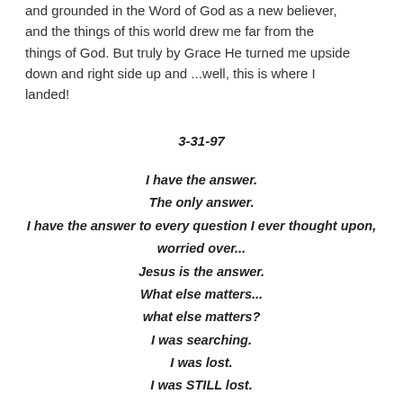and grounded in the Word of God as a new believer, and the things of this world drew me far from the things of God. But truly by Grace He turned me upside down and right side up and ...well, this is where I landed!
3-31-97
I have the answer.
The only answer.
I have the answer to every question I ever thought upon, worried over...
Jesus is the answer.
What else matters...
what else matters?
I was searching.
I was lost.
I was STILL lost.
I'm NOT lost anymore.